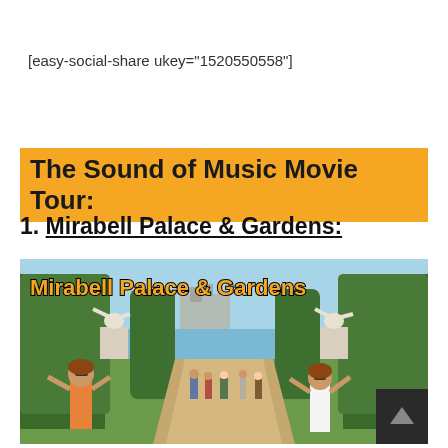[easy-social-share ukey="1520550558"]
The Sound of Music Movie Tour:
1. Mirabell Palace & Gardens:
[Figure (photo): Photo of Mirabell Palace & Gardens in Salzburg, Austria. Two women pose in front of classical statues along a garden path lined with tall trimmed trees. A castle is visible in the background. The image has an overlay title reading 'Mirabell Palace & Gardens' in orange outlined text, and a 'BigBoyTravel.com' watermark on the right side.]